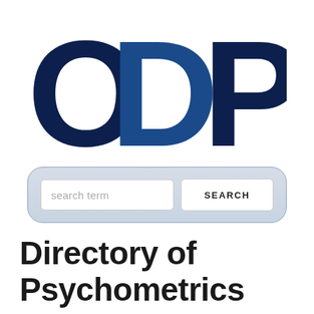[Figure (logo): ODP logo — three large bold letters O, D, P in dark navy and blue overlapping style]
[Figure (screenshot): Search bar UI with a text input labeled 'search term' and a SEARCH button, set inside a rounded light blue-grey container]
Directory of Psychometrics Resources